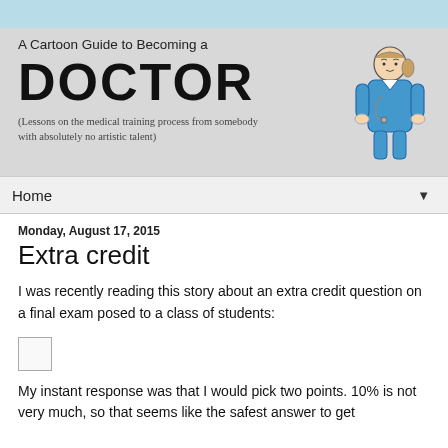[Figure (illustration): Blog header banner: 'A Cartoon Guide to Becoming a DOCTOR' with a cartoon figure of a doctor in blue scrubs, and tagline about lessons on medical training from somebody with no artistic talent.]
Home
Monday, August 17, 2015
Extra credit
I was recently reading this story about an extra credit question on a final exam posed to a class of students:
[Figure (illustration): Small placeholder/thumbnail image, appears as a small outlined box.]
My instant response was that I would pick two points. 10% is not very much, so that seems like the safest answer to get